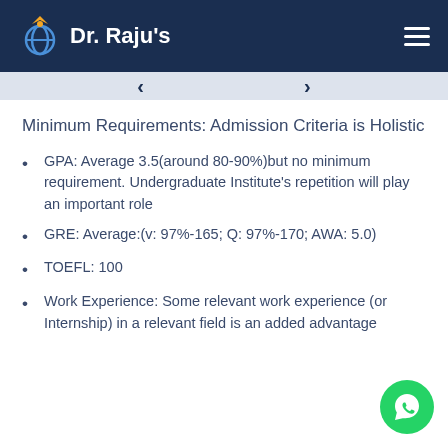Dr. Raju's
Minimum Requirements: Admission Criteria is Holistic
GPA: Average 3.5(around 80-90%)but no minimum requirement. Undergraduate Institute's repetition will play an important role
GRE: Average:(v: 97%-165; Q: 97%-170; AWA: 5.0)
TOEFL: 100
Work Experience: Some relevant work experience (or Internship) in a relevant field is an added advantage